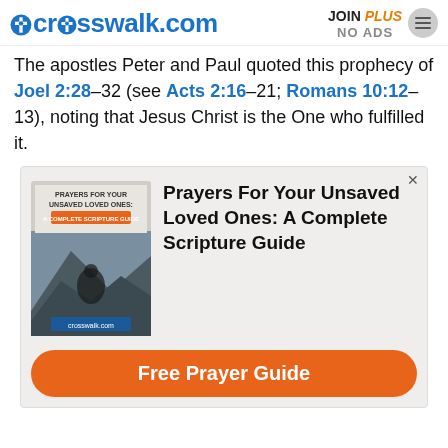crosswalk.com | JOIN PLUS NO ADS
The apostles Peter and Paul quoted this prophecy of Joel 2:28–32 (see Acts 2:16–21; Romans 10:12–13), noting that Jesus Christ is the One who fulfilled it.
[Figure (infographic): Advertisement for 'Prayers For Your Unsaved Loved Ones: A Complete Scripture Guide' with a book cover image and a 'Free Prayer Guide' orange button.]